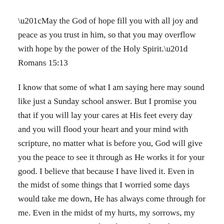“May the God of hope fill you with all joy and peace as you trust in him, so that you may overflow with hope by the power of the Holy Spirit.” Romans 15:13
I know that some of what I am saying here may sound like just a Sunday school answer. But I promise you that if you will lay your cares at His feet every day and you will flood your heart and your mind with scripture, no matter what is before you, God will give you the peace to see it through as He works it for your good. I believe that because I have lived it. Even in the midst of some things that I worried some days would take me down, He has always come through for me. Even in the midst of my hurts, my sorrows, my anxiety, my worries and my hopes and my dreams, He is my